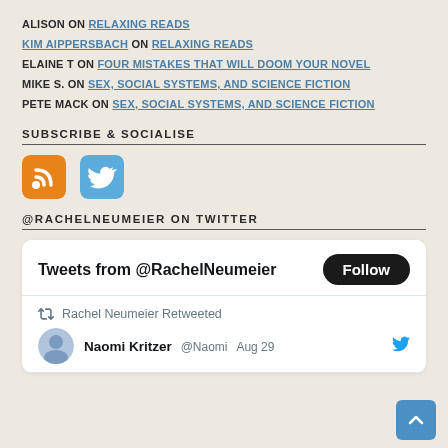ALISON ON RELAXING READS
KIM AIPPERSBACH ON RELAXING READS
ELAINE T ON FOUR MISTAKES THAT WILL DOOM YOUR NOVEL
MIKE S. ON SEX, SOCIAL SYSTEMS, AND SCIENCE FICTION
PETE MACK ON SEX, SOCIAL SYSTEMS, AND SCIENCE FICTION
SUBSCRIBE & SOCIALISE
[Figure (other): RSS feed icon (orange rounded square) and Twitter icon (blue rounded square)]
@RACHELNEUMEIER ON TWITTER
[Figure (screenshot): Twitter widget showing 'Tweets from @RachelNeumeier' with Follow button, and a retweet entry: 'Rachel Neumeier Retweeted' with partial avatar and name 'Naomi Kritzer @Naomi Aug 29']